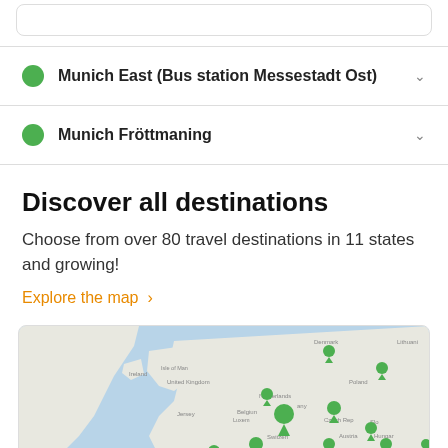Munich East (Bus station Messestadt Ost)
Munich Fröttmaning
Discover all destinations
Choose from over 80 travel destinations in 11 states and growing!
Explore the map >
[Figure (map): Map of Europe showing green location pin markers over various countries including Netherlands, Germany, Poland, Czech Republic, Austria, Hungary, Switzerland, and others.]